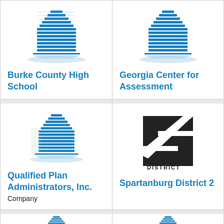[Figure (logo): Building/school logo icon in teal/blue]
Burke County High School
[Figure (logo): Building/school logo icon in teal/blue]
Georgia Center for Assessment
[Figure (logo): Building/school logo icon in teal/blue]
Qualified Plan Administrators, Inc.
Company
[Figure (logo): Spartanburg District 2 logo with large stylized '2' and diagonal text]
Spartanburg District 2
[Figure (logo): Building/school logo icon in teal/blue (partial, bottom row)]
[Figure (logo): Building/school logo icon in teal/blue (partial, bottom row)]